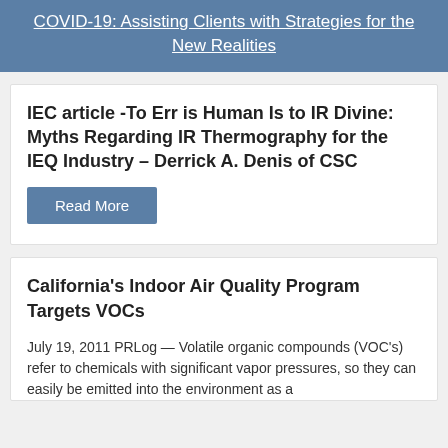COVID-19: Assisting Clients with Strategies for the New Realities
IEC article -To Err is Human Is to IR Divine: Myths Regarding IR Thermography for the IEQ Industry – Derrick A. Denis of CSC
Read More
California's Indoor Air Quality Program Targets VOCs
July 19, 2011  PRLog — Volatile organic compounds (VOC's) refer to chemicals with significant vapor pressures, so they can easily be emitted into the environment as a